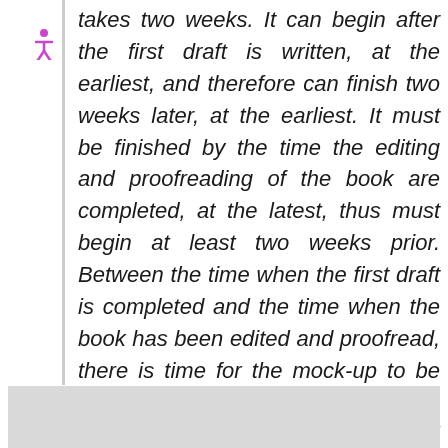takes two weeks. It can begin after the first draft is written, at the earliest, and therefore can finish two weeks later, at the earliest. It must be finished by the time the editing and proofreading of the book are completed, at the latest, thus must begin at least two weeks prior. Between the time when the first draft is completed and the time when the book has been edited and proofread, there is time for the mock-up to be created without causing deviation from the project plan. This is the total slack time of the task.
[Figure (other): Gray placeholder box at the bottom of the page]